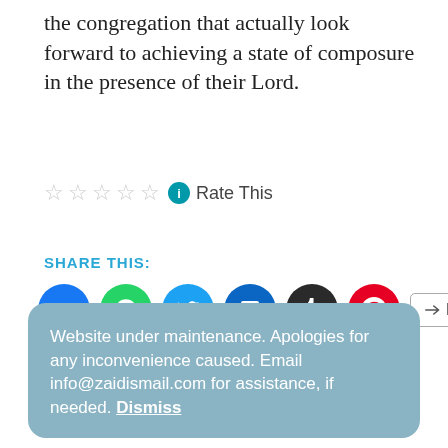the congregation that actually look forward to achieving a state of composure in the presence of their Lord.
Rate This
SHARE THIS:
[Figure (other): Social media share buttons: Facebook, WhatsApp, Twitter, LinkedIn, Tumblr, Pinterest, and a More button]
LIKE THIS:
Loading...
Website under maintenance. Apologies for any inconvenience caused. Email info@zaidismail.com for assistance, if needed. Dismiss